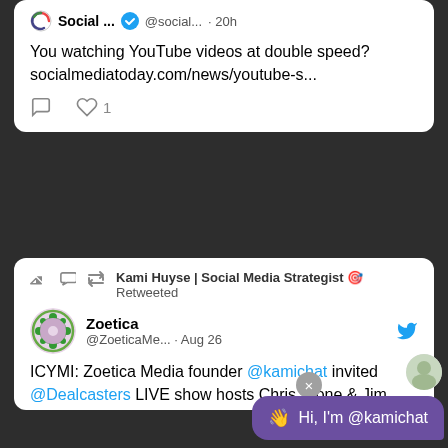[Figure (screenshot): Screenshot of a Twitter/social media feed showing two tweet cards on a dark background. First card shows a tweet from 'Social ...' with a verified badge mentioning watching YouTube videos at double speed with a link. Second card shows a retweet by Kami Huyse of a Zoetica tweet about a livestream with @kamichat, @Dealcasters, #SMBHou. A purple chat widget says 'Hi, I'm @kamichat' at the bottom right.]